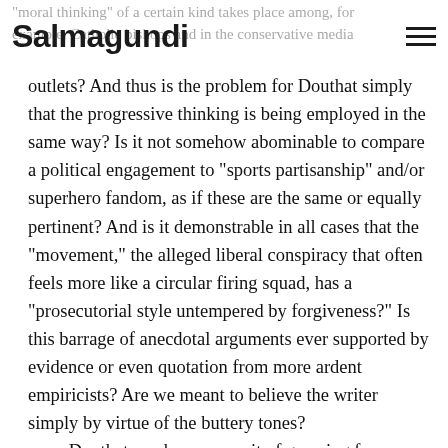Salmagundi
“moral thinking” of a certain kind takes place among, for example, Catholic bishops and in the conservative media outlets? And thus is the problem for Douthat simply that the progressive thinking is being employed in the same way? Is it not somehow abominable to compare a political engagement to “sports partisanship” and/or superhero fandom, as if these are the same or equally pertinent? And is it demonstrable in all cases that the “movement,” the alleged liberal conspiracy that often feels more like a circular firing squad, has a “prosecutorial style untempered by forgiveness?” Is this barrage of anecdotal arguments ever supported by evidence or even quotation from more ardent empiricists? Are we meant to believe the writer simply by virtue of the buttery tones?
	Douthat reaches a summit of grasping for evidentiary footing with the following passage: “A second obstacle [to the integration of the elites into the church community] is the meritocracy’s anti-supernaturalism: The average Ivy League professor, management consultant or Google engineer is not necessarily a strict materialist, but they have all been trained in a